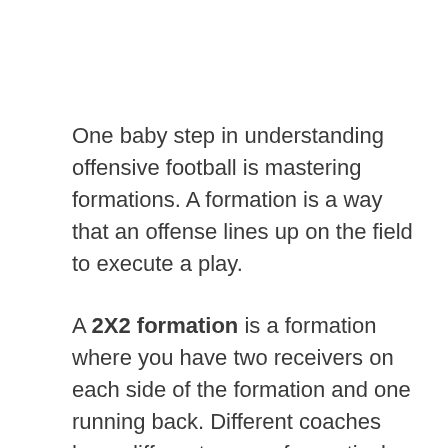One baby step in understanding offensive football is mastering formations. A formation is a way that an offense lines up on the field to execute a play.
A 2X2 formation is a formation where you have two receivers on each side of the formation and one running back. Different coaches have different names for particular personnel. Some of the common nicknames in football for 2×2 formations are Ace, Duo,